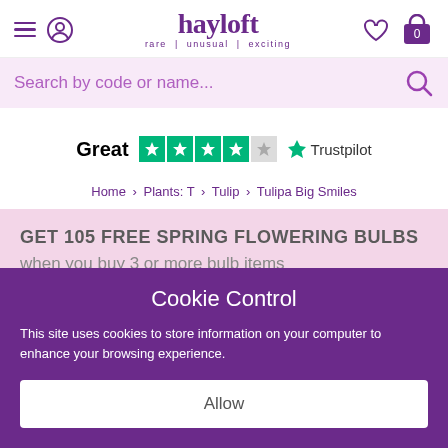[Figure (screenshot): Hayloft website header with hamburger menu, user icon, logo with tagline 'rare | unusual | exciting', heart icon, and shopping basket with 0 count]
[Figure (screenshot): Search bar with placeholder text 'Search by code or name...' and search icon on pink background]
Great ★★★★☆ Trustpilot
Home > Plants: T > Tulip > Tulipa Big Smiles
GET 105 FREE SPRING FLOWERING BULBS
when you buy 3 or more bulb items
Cookie Control
This site uses cookies to store information on your computer to enhance your browsing experience.
Allow